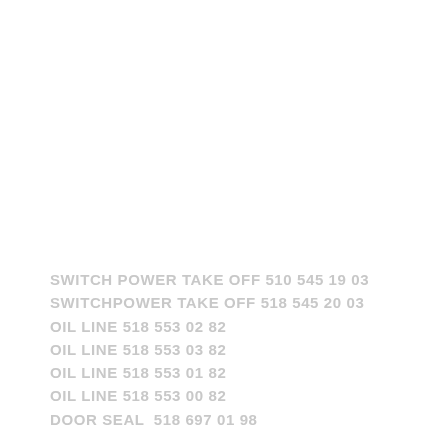SWITCH POWER TAKE OFF 510 545 19 03
SWITCHPOWER TAKE OFF 518 545 20 03
OIL LINE 518 553 02 82
OIL LINE 518 553 03 82
OIL LINE 518 553 01 82
OIL LINE 518 553 00 82
DOOR SEAL  518 697 01 98